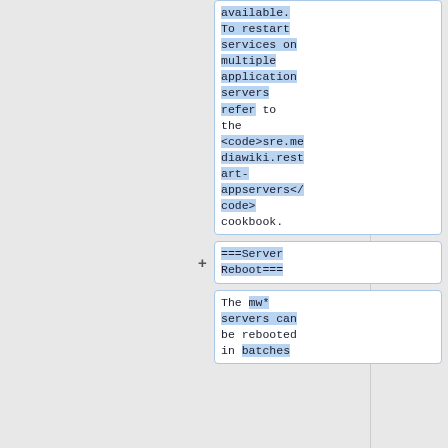available. To restart services on multiple application servers refer to the <code>sre.mediawiki.restart-appservers</code> cookbook.
===Server Reboot===
The mw* servers can be rebooted in batches